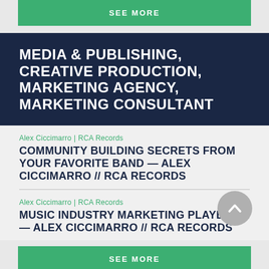SEE MORE
MEDIA & PUBLISHING, CREATIVE PRODUCTION, MARKETING AGENCY, MARKETING CONSULTANT
Alex Ciccimarro | RCA Records
COMMUNITY BUILDING SECRETS FROM YOUR FAVORITE BAND — ALEX CICCIMARRO // RCA RECORDS
Alex Ciccimarro | RCA Records
MUSIC INDUSTRY MARKETING PLAYBOOK — ALEX CICCIMARRO // RCA RECORDS
SEE MORE